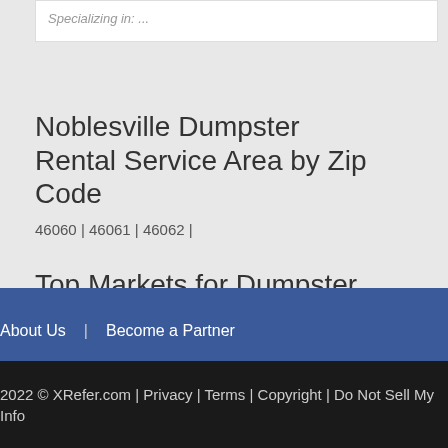Specializing in: ...
Noblesville Dumpster Rental Service Area by Zip Code
46060 | 46061 | 46062 |
Top Markets for Dumpster Rental in Indiana
Evansville | Fort Wayne | Indianapolis | South Bend |
About Us | Become a Partner
2022 © XRefer.com | Privacy | Terms | Copyright | Do Not Sell My Info